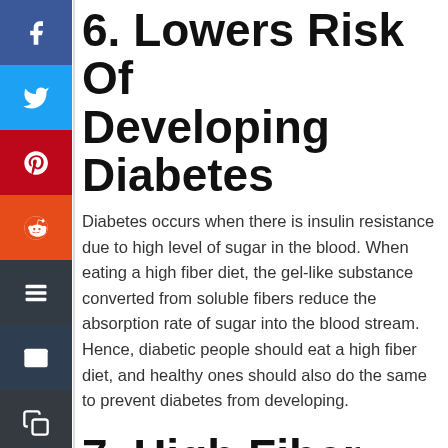[Figure (infographic): Vertical column of social media share buttons on the left side: Facebook (blue), Twitter (light blue), Pinterest (red), Reddit (orange), Buffer (dark gray), Email (dark navy), Copy (dark gray), Love/Heart (red)]
6. Lowers Risk Of Developing Diabetes
Diabetes occurs when there is insulin resistance due to high level of sugar in the blood. When eating a high fiber diet, the gel-like substance converted from soluble fibers reduce the absorption rate of sugar into the blood stream. Hence, diabetic people should eat a high fiber diet, and healthy ones should also do the same to prevent diabetes from developing.
7. High Fiber Diet is